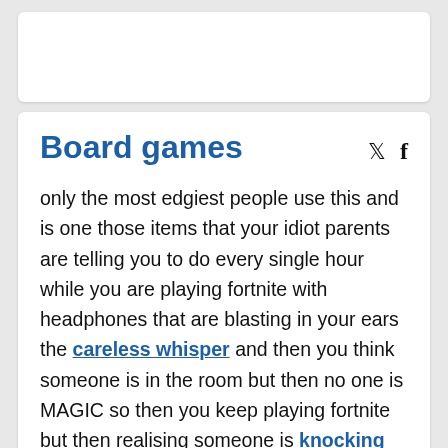[Figure (other): White card placeholder at top]
Board games
only the most edgiest people use this and is one those items that your idiot parents are telling you to do every single hour while you are playing fortnite with headphones that are blasting in your ears the careless whisper and then you think someone is in the room but then no one is MAGIC so then you keep playing fortnite but then realising someone is knocking on the door and you open it and its your girlfriend and you were going to take her out today so you said come play fortninte but